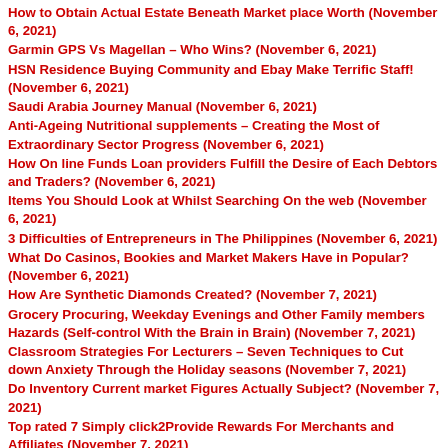How to Obtain Actual Estate Beneath Market place Worth (November 6, 2021)
Garmin GPS Vs Magellan – Who Wins? (November 6, 2021)
HSN Residence Buying Community and Ebay Make Terrific Staff! (November 6, 2021)
Saudi Arabia Journey Manual (November 6, 2021)
Anti-Ageing Nutritional supplements – Creating the Most of Extraordinary Sector Progress (November 6, 2021)
How On line Funds Loan providers Fulfill the Desire of Each Debtors and Traders? (November 6, 2021)
Items You Should Look at Whilst Searching On the web (November 6, 2021)
3 Difficulties of Entrepreneurs in The Philippines (November 6, 2021)
What Do Casinos, Bookies and Market Makers Have in Popular? (November 6, 2021)
How Are Synthetic Diamonds Created? (November 7, 2021)
Grocery Procuring, Weekday Evenings and Other Family members Hazards (Self-control With the Brain in Brain) (November 7, 2021)
Classroom Strategies For Lecturers – Seven Techniques to Cut down Anxiety Through the Holiday seasons (November 7, 2021)
Do Inventory Current market Figures Actually Subject? (November 7, 2021)
Top rated 7 Simply click2Provide Rewards For Merchants and Affiliates (November 7, 2021)